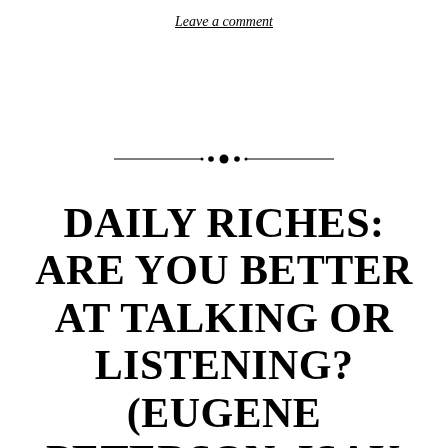Leave a comment
[Figure (illustration): Decorative horizontal divider with ornamental center motif (small floral/diamond cluster) flanked by thin lines tapering to points on each side.]
DAILY RICHES: ARE YOU BETTER AT TALKING OR LISTENING? (EUGENE PETERSON, ISAK DINESEN AND TERESA